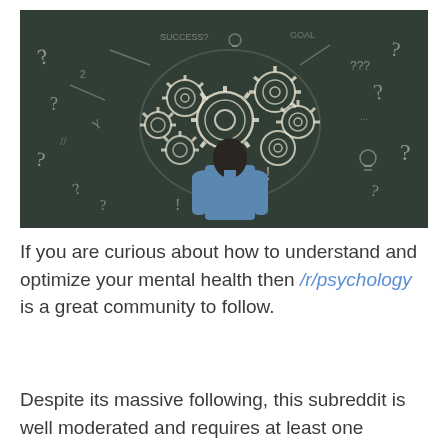[Figure (photo): A person standing with their back to the viewer in front of a dark chalkboard covered in chalk drawings of a brain made of gears, along with question marks, exclamation points, arrows, light bulb outlines and other symbols surrounding the brain illustration.]
If you are curious about how to understand and optimize your mental health then /r/psychology is a great community to follow.
Despite its massive following, this subreddit is well moderated and requires at least one